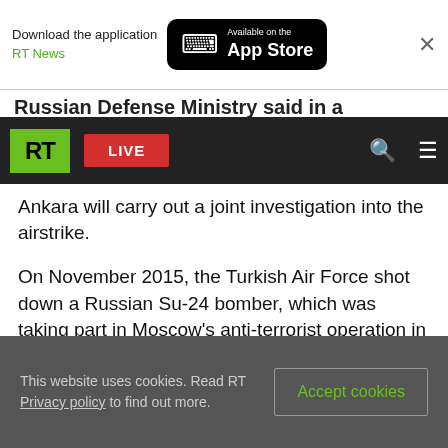Download the application RT News — Available on the App Store
RT LIVE [navigation bar]
Russian Defense Ministry said in a statement
Ankara will carry out a joint investigation into the airstrike.
On November 2015, the Turkish Air Force shot down a Russian Su-24 bomber, which was taking part in Moscow’s anti-terrorist operation in Syria.
The two Russian pilots were forced to eject into terrorist-held areas, with the captain being killed by militant fire as he was descending.
This website uses cookies. Read RT Privacy policy to find out more. [Accept cookies]